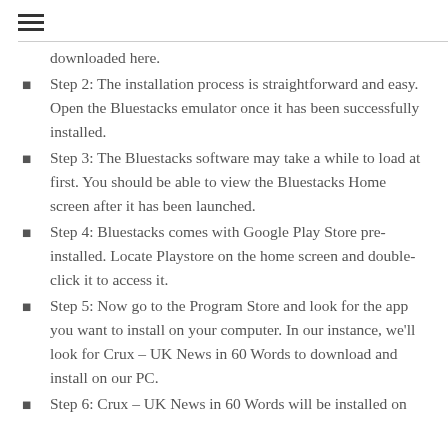≡
downloaded here.
Step 2: The installation process is straightforward and easy. Open the Bluestacks emulator once it has been successfully installed.
Step 3: The Bluestacks software may take a while to load at first. You should be able to view the Bluestacks Home screen after it has been launched.
Step 4: Bluestacks comes with Google Play Store pre-installed. Locate Playstore on the home screen and double-click it to access it.
Step 5: Now go to the Program Store and look for the app you want to install on your computer. In our instance, we'll look for Crux – UK News in 60 Words to download and install on our PC.
Step 6: Crux – UK News in 60 Words will be installed on